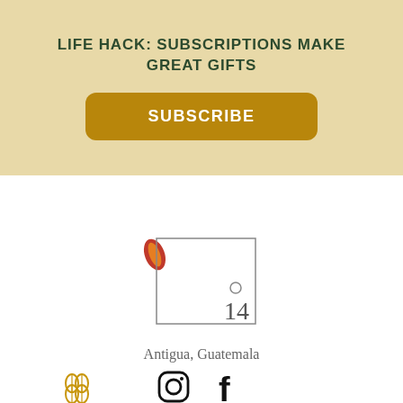LIFE HACK: SUBSCRIPTIONS MAKE GREAT GIFTS
SUBSCRIBE
[Figure (logo): Square outlined logo with a small orange coffee bean/leaf on the left side and a small circle above the number 14 in the lower right area]
Antigua, Guatemala
[Figure (other): Instagram and Facebook social media icons in black]
[Figure (logo): Small golden coffee/floral icon in the bottom left]